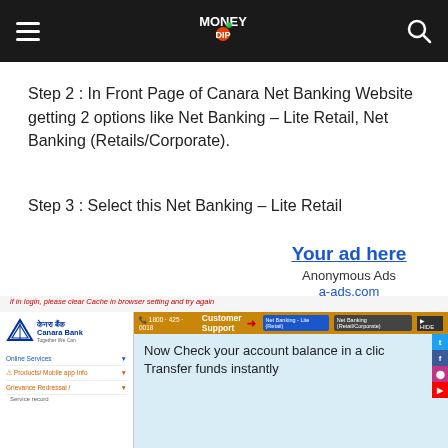Money Dip - Navigation header with hamburger menu, logo, and search icon
Step 2 : In Front Page of Canara Net Banking Website getting 2 options like Net Banking – Lite Retail, Net Banking (Retails/Corporate).
Step 3 : Select this Net Banking – Lite Retail
[Figure (screenshot): Advertisement box showing 'Your ad here', 'Anonymous Ads', and 'a-ads.com' link on the right side]
[Figure (screenshot): Screenshot of Canara Bank net banking website showing Customer Support header with Net Banking - Lite Retail and Net Banking (Retail/Corporate) buttons, red arrow pointing to Lite Retail option, and promotional text 'Now Check your account balance in a click, Transfer funds instantly']